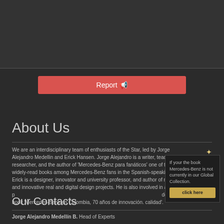[Figure (other): Top dark gray banner section]
[Figure (other): Red Report button with megaphone icon]
About Us
We are an interdisciplinary team of enthusiasts of the Star, led by Jorge Alejandro Medellin and Erick Hansen. Jorge Alejandro is a writer, teacher and researcher, and the author of 'Mercedes-Benz para fanáticos' one of the most widely-read books among Mercedes-Benz fans in the Spanish-speaking world. Erick is a designer, innovator and university professor, and author of numerous and innovative real and digital design projects. He is also involved in aerial photography, 3D prototyping and co-author with Jorge Alejandro Medellin the book 'Mercedes-Benz en Colombia, 70 años de innovación. the book Mercedes-Benz is not currently in our Global Collection. calidad'.
Our Contacts
Jorge Alejandro Medellín B. Head of Experts
Erick Hansen G. Chief Design Officer